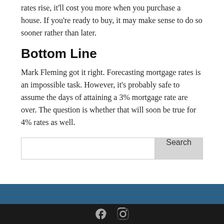rates rise, it'll cost you more when you purchase a house. If you're ready to buy, it may make sense to do so sooner rather than later.
Bottom Line
Mark Fleming got it right. Forecasting mortgage rates is an impossible task. However, it's probably safe to assume the days of attaining a 3% mortgage rate are over. The question is whether that will soon be true for 4% rates as well.
[Figure (other): Search bar with text input field and Search button]
[Figure (other): Website footer with blue band above black bar containing Facebook and Instagram social media icons]